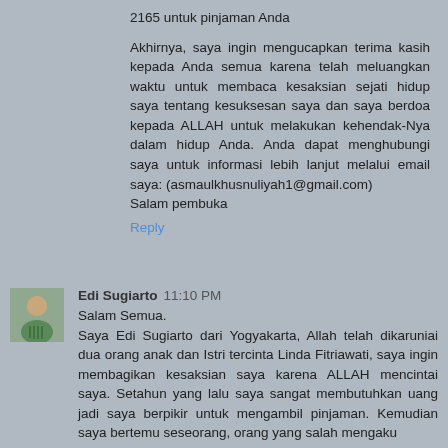2165 untuk pinjaman Anda
Akhirnya, saya ingin mengucapkan terima kasih kepada Anda semua karena telah meluangkan waktu untuk membaca kesaksian sejati hidup saya tentang kesuksesan saya dan saya berdoa kepada ALLAH untuk melakukan kehendak-Nya dalam hidup Anda. Anda dapat menghubungi saya untuk informasi lebih lanjut melalui email saya: (asmaulkhusnuliyah1@gmail.com)
Salam pembuka
Reply
Edi Sugiarto 11:10 PM
Salam Semua.
Saya Edi Sugiarto dari Yogyakarta, Allah telah dikaruniai dua orang anak dan Istri tercinta Linda Fitriawati, saya ingin membagikan kesaksian saya karena ALLAH mencintai saya. Setahun yang lalu saya sangat membutuhkan uang jadi saya berpikir untuk mengambil pinjaman. Kemudian saya bertemu seseorang, orang yang salah mengaku